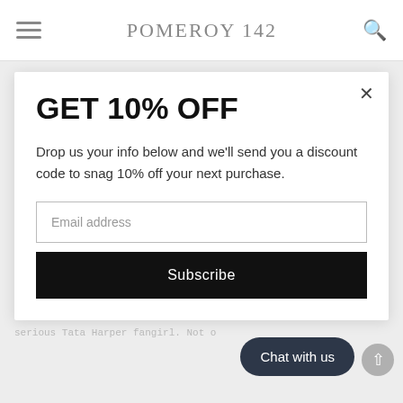POMEROY 142
GET 10% OFF
Drop us your info below and we'll send you a discount code to snag 10% off your next purchase.
Email address
Subscribe
Harper's Hydrating Floral Essence serious Tata Harper fangirl. Not o
Chat with us